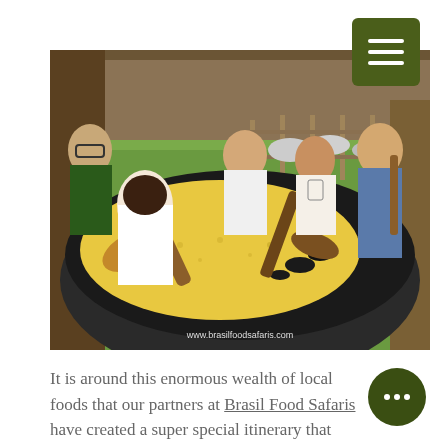[Figure (photo): Group of people around a large pan/cauldron stirring yellow grain/farofa with wooden implements, outdoors under a wooden structure with green pasture and animals in the background. Watermark reads www.brasilfoodsafaris.com]
It is around this enormous wealth of local foods that our partners at Brasil Food Safaris have created a super special itinerary that combines the